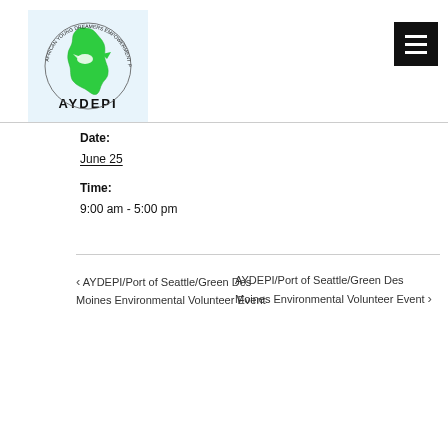[Figure (logo): AYDEPI logo - green Africa map with dove, circular text reading AFRICAN YOUNG DREAMERS EMPOWERMENT PROGRAM]
Date:
June 25
Time:
9:00 am - 5:00 pm
‹ AYDEPI/Port of Seattle/Green Des Moines Environmental Volunteer Event
AYDEPI/Port of Seattle/Green Des Moines Environmental Volunteer Event ›